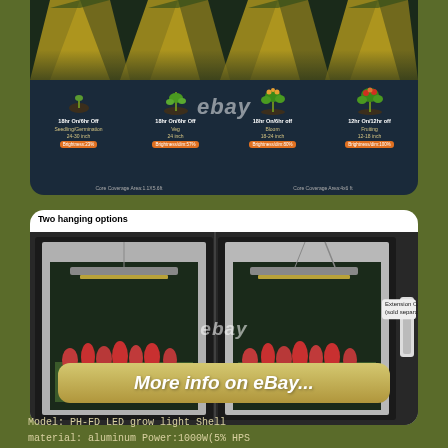[Figure (infographic): Grow light coverage infographic showing four plant growth stages: Seedling/Germination 18hr On/6hr Off 24-30 inch, Veg 18hr On/6hr Off 24 inch, Bloom 18hr On/6hr off 18-24 inch, Fruiting 12hr On/12hr off 12-18 inch. Coverage areas shown at bottom. eBay watermark visible.]
[Figure (photo): Two hanging options for LED grow light shown inside grow tents. Left panel shows flat hanging, right panel shows angled/alternative hanging. Extension cord (sold separately) shown on right side. eBay watermark visible.]
More info on eBay...
Model: PH-FD LED grow light Shell material: aluminum Power:1000W(5% HPS